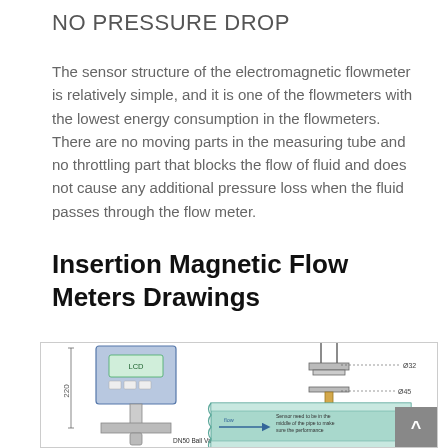NO PRESSURE DROP
The sensor structure of the electromagnetic flowmeter is relatively simple, and it is one of the flowmeters with the lowest energy consumption in the flowmeters. There are no moving parts in the measuring tube and no throttling part that blocks the flow of fluid and does not cause any additional pressure loss when the fluid passes through the flow meter.
Insertion Magnetic Flow Meters Drawings
[Figure (engineering-diagram): Technical drawing of an insertion magnetic flow meter showing: left side — a meter head unit with digital display mounted on a vertical stem with ball valve (DN50 Ball Valve label), with dimension '220' marked; right side — cross-section diagram of pipe installation showing the sensor insertion into a pipe, with dimensions Ø32 and Ø45 labeled, flow direction arrow, and note 'Sensor need to be in the middle of the pipe to make sure the performance'.]